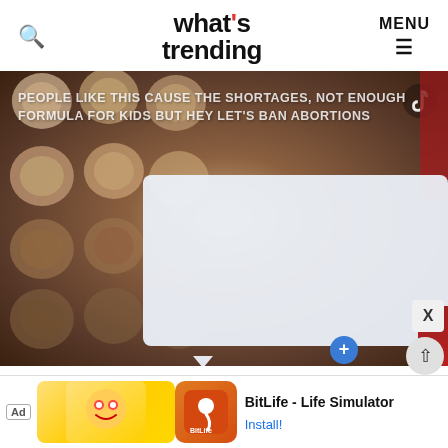what's trending — MENU
[Figure (screenshot): Screenshot of a social media post on TikTok showing baby formula cans in the background with overlaid text reading: PEOPLE LIKE THIS CAUSE THE SHORTAGES, NOT ENOUGH FORMULA FOR KIDS BUT HEY LET'S BAN ABORTIONS. A chat bubble/comment overlay is partially visible in the lower right portion of the image.]
[Figure (other): Advertisement banner for BitLife - Life Simulator mobile app with Install button]